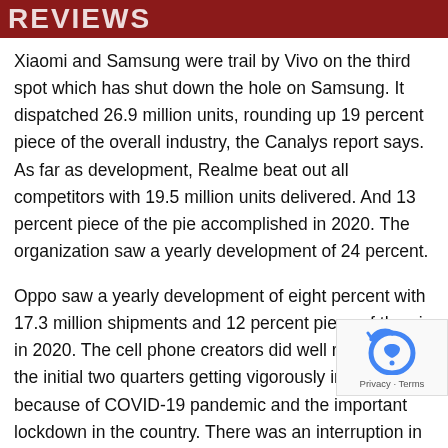REVIEWS
Xiaomi and Samsung were trail by Vivo on the third spot which has shut down the hole on Samsung. It dispatched 26.9 million units, rounding up 19 percent piece of the overall industry, the Canalys report says. As far as development, Realme beat out all competitors with 19.5 million units delivered. And 13 percent piece of the pie accomplished in 2020. The organization saw a yearly development of 24 percent.
Oppo saw a yearly development of eight percent with 17.3 million shipments and 12 percent piece of the pie in 2020. The cell phone creators did well regardless of the initial two quarters getting vigorously influence because of COVID-19 pandemic and the important lockdown in the country. There was an interruption in inventory conveyance chains.
Nonetholoss, the pandemic additionally prompted an